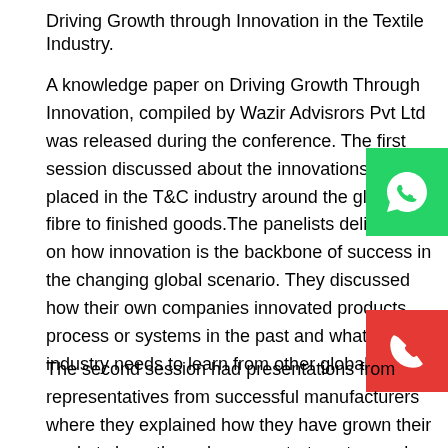Driving Growth through Innovation in the Textile Industry.
A knowledge paper on Driving Growth Through Innovation, compiled by Wazir Advisrors Pvt Ltd was released during the conference. The first session discussed about the innovations taking placed in the T&C industry around the globe from fibre to finished goods.The panelists deliberated on how innovation is the backbone of success in the changing global scenario. They discussed how their own companies innovated products, process or systems in the past and what the industry needs to learn from other global leaders.
The second session had presentations from representatives from successful manufacturers where they explained how they have grown their market share through a core strategy to excel. The third and last